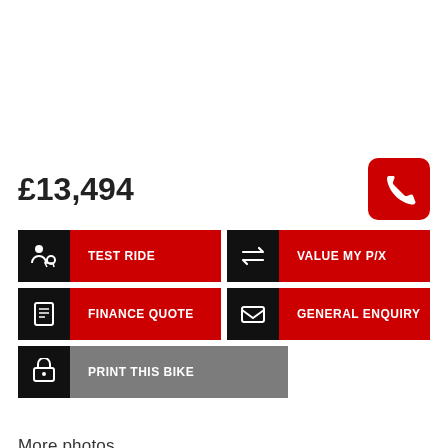£13,494
[Figure (other): Phone call button — red rounded square with white telephone handset icon]
[Figure (other): TEST RIDE button with motorcycle icon on black background and red label]
[Figure (other): VALUE MY P/X button with arrows exchange icon on black background and red label]
[Figure (other): FINANCE QUOTE button with calculator icon on black background and red label]
[Figure (other): GENERAL ENQUIRY button with envelope icon on black background and red label]
[Figure (other): PRINT THIS BIKE button with printer icon on black background and gray label]
More photos